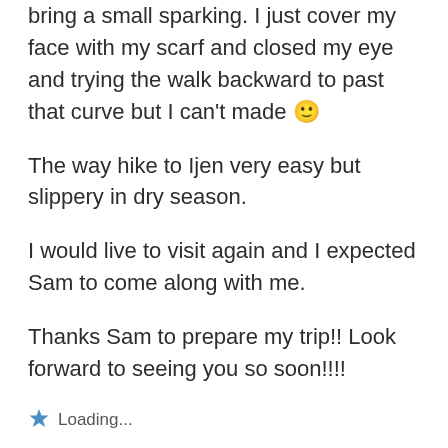bring a small sparking. I just cover my face with my scarf and closed my eye and trying the walk backward to past that curve but I can't made 🙂
The way hike to Ijen very easy but slippery in dry season.
I would live to visit again and I expected Sam to come along with me.
Thanks Sam to prepare my trip!! Look forward to seeing you so soon!!!!
Loading...
REPLY